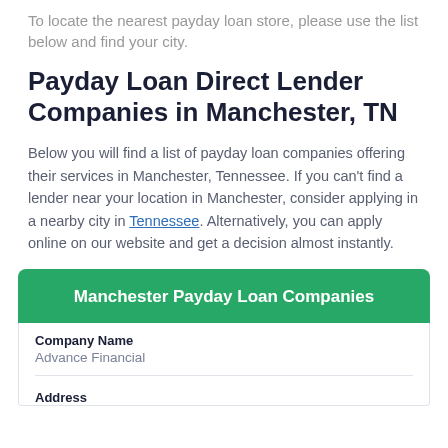To locate the nearest payday loan store, please use the list below and find your city.
Payday Loan Direct Lender Companies in Manchester, TN
Below you will find a list of payday loan companies offering their services in Manchester, Tennessee. If you can't find a lender near your location in Manchester, consider applying in a nearby city in Tennessee. Alternatively, you can apply online on our website and get a decision almost instantly.
| Manchester Payday Loan Companies |
| --- |
| Company Name | Advance Financial |
| Address |  |
Manchester Payday Loan Companies